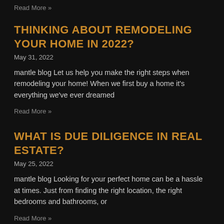Read More »
THINKING ABOUT REMODELING YOUR HOME IN 2022?
May 31, 2022
mantle blog Let us help you make the right steps when remodeling your home! When we first buy a home it's everything we've ever dreamed
Read More »
WHAT IS DUE DILIGENCE IN REAL ESTATE?
May 25, 2022
mantle blog Looking for your perfect home can be a hassle at times. Just from finding the right location, the right bedrooms and bathrooms, or
Read More »